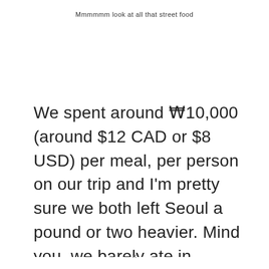Mmmmmm look at all that street food
We spent around ₩10,000 (around $12 CAD or $8 USD) per meal, per person on our trip and I'm pretty sure we both left Seoul a pound or two heavier. Mind you, we barely ate in restaurants and stuck to street food
×